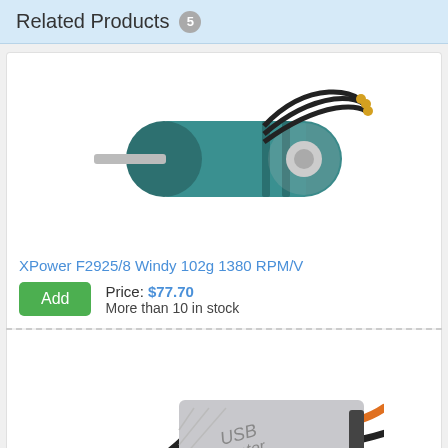Related Products 5
[Figure (photo): Photo of XPower F2925/8 Windy brushless motor, teal/green cylindrical motor with black wires and gold connectors]
XPower F2925/8 Windy 102g 1380 RPM/V
Price: $77.70
More than 10 in stock
[Figure (photo): Photo of a USB Adapter device with cables attached, silver rectangular module with orange and black wires]